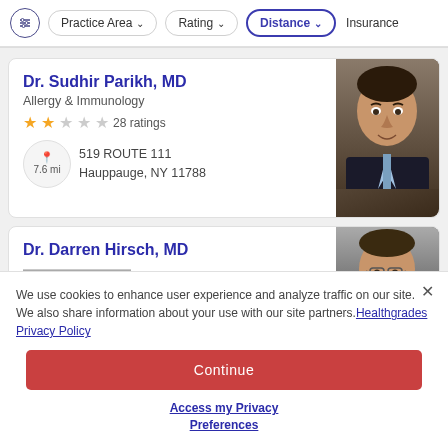Filter bar: Practice Area, Rating, Distance, Insurance
Dr. Sudhir Parikh, MD — Allergy & Immunology — 2 stars — 28 ratings — 7.6 mi — 519 ROUTE 111, Hauppauge, NY 11788
[Figure (photo): Headshot of Dr. Sudhir Parikh, MD, a middle-aged man in a dark suit with a light blue tie, against a gray background]
Dr. Darren Hirsch, MD
[Figure (photo): Headshot of Dr. Darren Hirsch, MD, a young man with glasses, smiling, against a gray background]
We use cookies to enhance user experience and analyze traffic on our site. We also share information about your use with our site partners. Healthgrades Privacy Policy
Continue
Access my Privacy Preferences